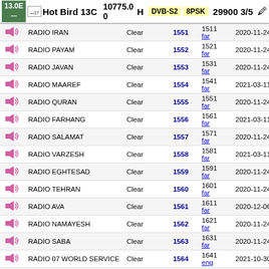Hot Bird 13C | 10775.00 H | DVB-S2 8PSK | 29900 3/5
|  | Name | Encryption | SID | VPID/Lang | Date |
| --- | --- | --- | --- | --- | --- |
| 🔊 | RADIO IRAN | Clear | 1551 | 1511
far | 2020-11-24 |
| 🔊 | RADIO PAYAM | Clear | 1552 | 1521
far | 2020-11-24 |
| 🔊 | RADIO JAVAN | Clear | 1553 | 1531
far | 2020-11-24 |
| 🔊 | RADIO MAAREF | Clear | 1554 | 1541
far | 2021-03-11 |
| 🔊 | RADIO QURAN | Clear | 1555 | 1551
far | 2020-11-24 |
| 🔊 | RADIO FARHANG | Clear | 1556 | 1561
far | 2021-03-11 |
| 🔊 | RADIO SALAMAT | Clear | 1557 | 1571
far | 2020-11-24 |
| 🔊 | RADIO VARZESH | Clear | 1558 | 1581
far | 2021-03-11 |
| 🔊 | RADIO EGHTESAD | Clear | 1559 | 1591
far | 2020-11-24 |
| 🔊 | RADIO TEHRAN | Clear | 1560 | 1601
far | 2020-11-24 |
| 🔊 | RADIO AVA | Clear | 1561 | 1611
far | 2020-12-06 |
| 🔊 | RADIO NAMAYESH | Clear | 1562 | 1621
far | 2020-11-24 |
| 🔊 | RADIO SABA | Clear | 1563 | 1631
far | 2020-11-24 |
| 🔊 | RADIO 07 WORLD SERVICE | Clear | 1564 | 1641
eng | 2021-10-30 |